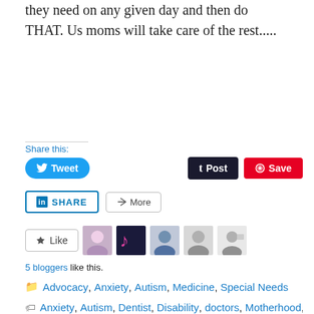they need on any given day and then do THAT. Us moms will take care of the rest.....
Share this:
Tweet | Post | Save
SHARE | More
Like | 5 bloggers like this.
Advocacy, Anxiety, Autism, Medicine, Special Needs
Anxiety, Autism, Dentist, Disability, doctors, Motherhood,